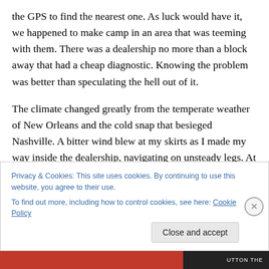the GPS to find the nearest one. As luck would have it, we happened to make camp in an area that was teeming with them. There was a dealership no more than a block away that had a cheap diagnostic. Knowing the problem was better than speculating the hell out of it.
The climate changed greatly from the temperate weather of New Orleans and the cold snap that besieged Nashville. A bitter wind blew at my skirts as I made my way inside the dealership, navigating on unsteady legs. At that moment, even my shakes had shakes. ‘I’m the one with
Privacy & Cookies: This site uses cookies. By continuing to use this website, you agree to their use.
To find out more, including how to control cookies, see here: Cookie Policy
Close and accept